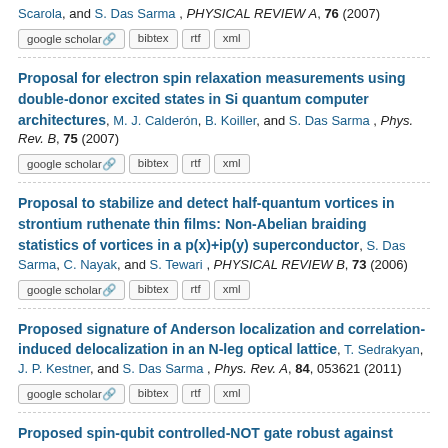Scarola, and S. Das Sarma , PHYSICAL REVIEW A, 76 (2007)
[google scholar] [bibtex] [rtf] [xml]
Proposal for electron spin relaxation measurements using double-donor excited states in Si quantum computer architectures, M. J. Calderón, B. Koiller, and S. Das Sarma , Phys. Rev. B, 75 (2007)
[google scholar] [bibtex] [rtf] [xml]
Proposal to stabilize and detect half-quantum vortices in strontium ruthenate thin films: Non-Abelian braiding statistics of vortices in a p(x)+ip(y) superconductor, S. Das Sarma, C. Nayak, and S. Tewari , PHYSICAL REVIEW B, 73 (2006)
[google scholar] [bibtex] [rtf] [xml]
Proposed signature of Anderson localization and correlation-induced delocalization in an N-leg optical lattice, T. Sedrakyan, J. P. Kestner, and S. Das Sarma , Phys. Rev. A, 84, 053621 (2011)
[google scholar] [bibtex] [rtf] [xml]
Proposed spin-qubit controlled-NOT gate robust against noisy